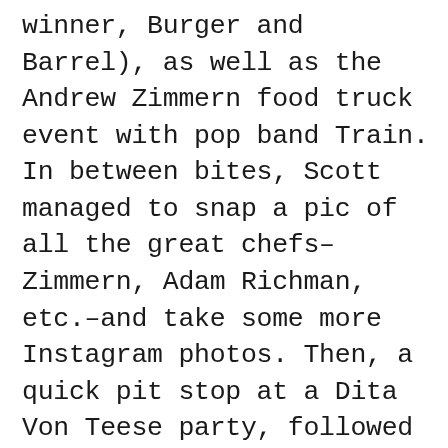winner, Burger and Barrel), as well as the Andrew Zimmern food truck event with pop band Train. In between bites, Scott managed to snap a pic of all the great chefs–Zimmern, Adam Richman, etc.–and take some more Instagram photos. Then, a quick pit stop at a Dita Von Teese party, followed by the grand finale this week: the Bergdorf Goodman 111th Anniversary party at the Plaza, with anyone who's anyone in fashion: Roberto Cavalli, Zac Posen, Karolina Kurkova, Olivier Theyskens, Rita Ora, Michael Kors, and so many more. And